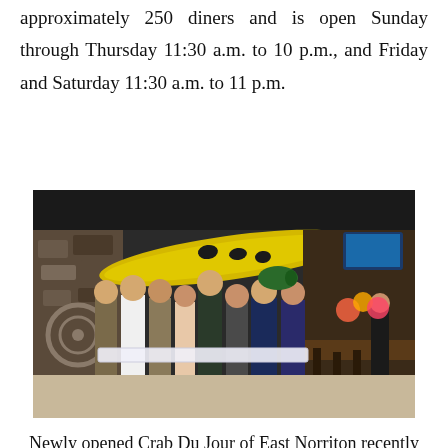approximately 250 diners and is open Sunday through Thursday 11:30 a.m. to 10 p.m., and Friday and Saturday 11:30 a.m. to 11 p.m.
[Figure (photo): Group of approximately 8 people standing inside a restaurant holding a ribbon for a ribbon-cutting ceremony. A yellow kayak is mounted on the wall behind them. The restaurant has decorative walls, bar seating, and TV screens. There is a red carpet on the floor.]
Newly opened Crab Du Jour of East Norriton recently donated meals to the staff at